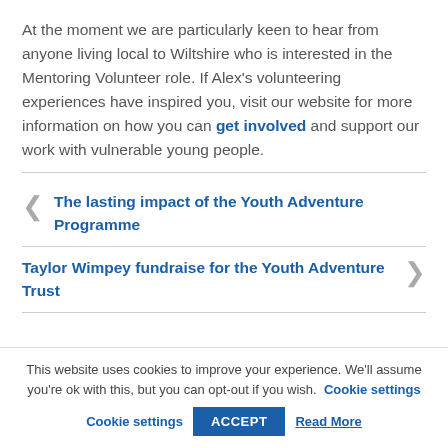At the moment we are particularly keen to hear from anyone living local to Wiltshire who is interested in the Mentoring Volunteer role. If Alex's volunteering experiences have inspired you, visit our website for more information on how you can get involved and support our work with vulnerable young people.
The lasting impact of the Youth Adventure Programme
Taylor Wimpey fundraise for the Youth Adventure Trust
This website uses cookies to improve your experience. We'll assume you're ok with this, but you can opt-out if you wish. Cookie settings ACCEPT Read More